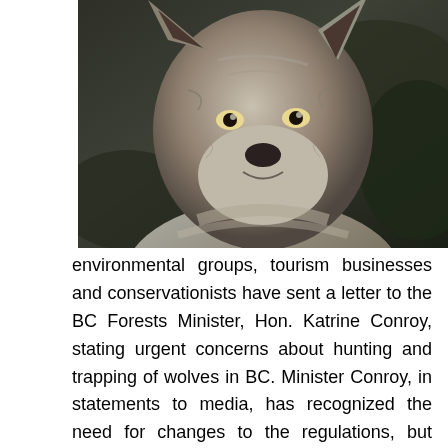[Figure (photo): Close-up photo of a wolf's face and upper body, with grey and brown fur, against a dark rocky background.]
environmental groups, tourism businesses and conservationists have sent a letter to the BC Forests Minister, Hon. Katrine Conroy, stating urgent concerns about hunting and trapping of wolves in BC. Minister Conroy, in statements to media, has recognized the need for changes to the regulations, but suggested that they would be done in consultation with the BC Wildlife Federation (a hunter's group) and the BC Trapping Association. She believed there were no conservation issues with regard to hunting and trapping wolves. Stating that the province's wildlife belongs to ALL British Columbians, the signers of the letter emphasized that there are serious conservation issues involved, and environmental groups as well as nonconsumptive wildlife